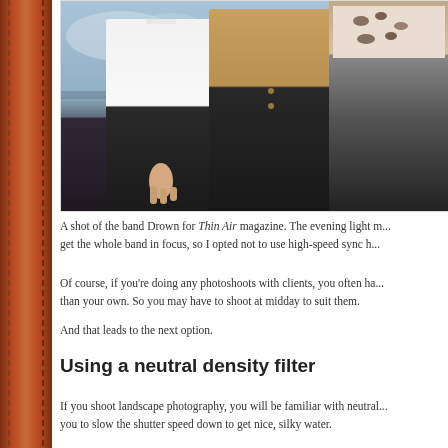[Figure (photo): A photo of the band Drown, showing three people standing outdoors. One person in a white shirt on the left, one in a tan/beige jacket in the middle, and a partial third person on the right wearing a patterned top. Evening outdoor setting.]
A shot of the band Drown for Thin Air magazine. The evening light m... get the whole band in focus, so I opted not to use high-speed sync h...
Of course, if you're doing any photoshoots with clients, you often ha... than your own. So you may have to shoot at midday to suit them.
And that leads to the next option.
Using a neutral density filter
If you shoot landscape photography, you will be familiar with neutral... you to slow the shutter speed down to get nice, silky water.